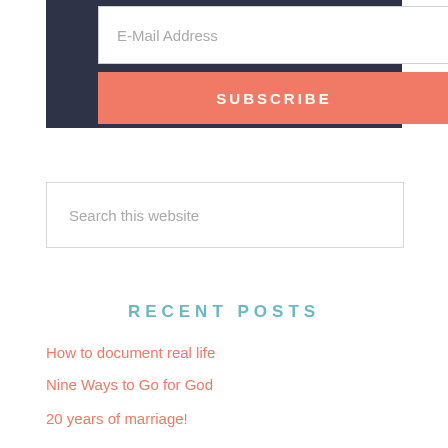[Figure (screenshot): Email subscription form with dark navy background, white email address input field with placeholder text 'E-Mail Address', and a salmon/coral colored SUBSCRIBE button]
[Figure (screenshot): Search input box with light border and placeholder text 'Search this website']
RECENT POSTS
How to document real life
Nine Ways to Go for God
20 years of marriage!